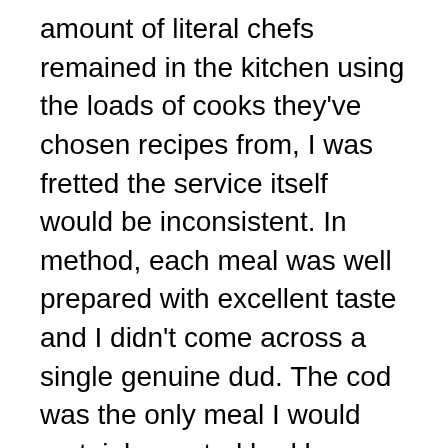amount of literal chefs remained in the kitchen using the loads of cooks they've chosen recipes from, I was fretted the service itself would be inconsistent. In method, each meal was well prepared with excellent taste and I didn't come across a single genuine dud. The cod was the only meal I would certainly wanted had been a bigger part but overall each lunch or dinner was satisfying.
One of the most amazing aspect of CookUnity is the large volume of meal choices you can choose from, all originating from cooks of various histories, cooking styles as well as levels of popularity. As an authentic dining establishment junkie, I would certainly think about CookUnity not